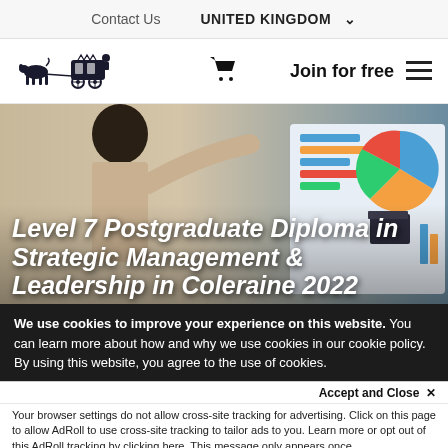Contact Us   UNITED KINGDOM
[Figure (logo): Carriage with horses logo (black ink illustration)]
Join for free
[Figure (photo): Person pointing at a display screen showing charts and graphs]
Level 7 Postgraduate Diploma in Strategic Management & Leadership in Coleraine 2022
We use cookies to improve your experience on this website. You can learn more about how and why we use cookies in our cookie policy. By using this website, you agree to the use of cookies.
Accept and Close ✕
Your browser settings do not allow cross-site tracking for advertising. Click on this page to allow AdRoll to use cross-site tracking to tailor ads to you. Learn more or opt out of this AdRoll tracking by clicking here. This message only appears once.